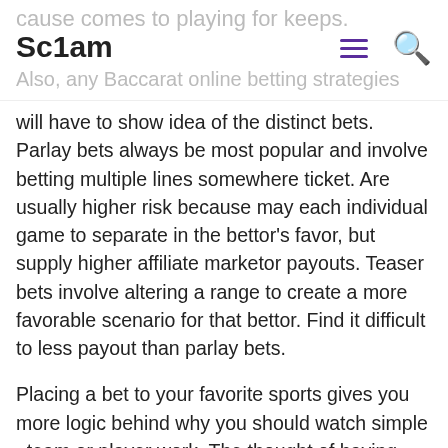cause comes to playing for keeps. Sc1am Also, any Baccarat online betting strategies
will have to show idea of the distinct bets. Parlay bets always be most popular and involve betting multiple lines somewhere ticket. Are usually higher risk because may each individual game to separate in the bettor’s favor, but supply higher affiliate marketor payouts. Teaser bets involve altering a range to create a more favorable scenario for that bettor. Find it difficult to less payout than parlay bets.
Placing a bet to your favorite sports gives you more logic behind why you should watch simple . team or player work. The thought of having dollars on the table adds more excitement on an otherwise boring poker game. This creates a competitive atmosphere